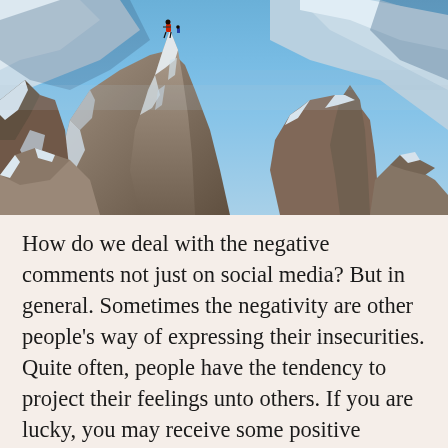[Figure (photo): A dramatic winter mountain scene with snow-covered rocky peaks and cliffs under a blue sky. A tiny figure in a red jacket stands atop one of the jagged rock formations, with steep snowy slopes and ice-covered boulders filling the foreground and background.]
How do we deal with the negative comments not just on social media? But in general. Sometimes the negativity are other people's way of expressing their insecurities. Quite often, people have the tendency to project their feelings unto others. If you are lucky, you may receive some positive energy from their projections, but if not, it's fear, insecurity, anger, resentment and a whole host of negativity that will be projected unto you.